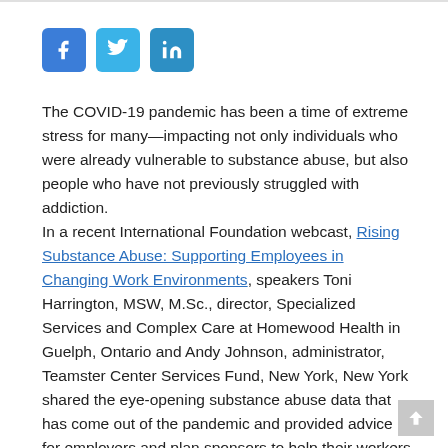[Figure (other): Three social media share buttons: Facebook (f), Twitter (bird), LinkedIn (in)]
The COVID-19 pandemic has been a time of extreme stress for many—impacting not only individuals who were already vulnerable to substance abuse, but also people who have not previously struggled with addiction.
In a recent International Foundation webcast, Rising Substance Abuse: Supporting Employees in Changing Work Environments, speakers Toni Harrington, MSW, M.Sc., director, Specialized Services and Complex Care at Homewood Health in Guelph, Ontario and Andy Johnson, administrator, Teamster Center Services Fund, New York, New York shared the eye-opening substance abuse data that has come out of the pandemic and provided advice for employers and plan sponsors to help their workers through the pandemic and beyond.